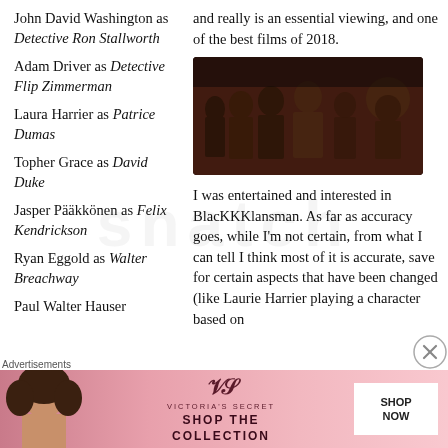John David Washington as Detective Ron Stallworth
and really is an essential viewing, and one of the best films of 2018.
Adam Driver as Detective Flip Zimmerman
[Figure (photo): Movie still from BlacKKKlansman showing a group of people in a dark indoor setting]
Laura Harrier as Patrice Dumas
I was entertained and interested in BlacKKKlansman. As far as accuracy goes, while I'm not certain, from what I can tell I think most of it is accurate, save for certain aspects that have been changed (like Laurie Harrier playing a character based on
Topher Grace as David Duke
Jasper Pääkkönen as Felix Kendrickson
Ryan Eggold as Walter Breachway
Paul Walter Hauser
Advertisements
[Figure (infographic): Victoria's Secret advertisement banner - Shop The Collection - Shop Now]